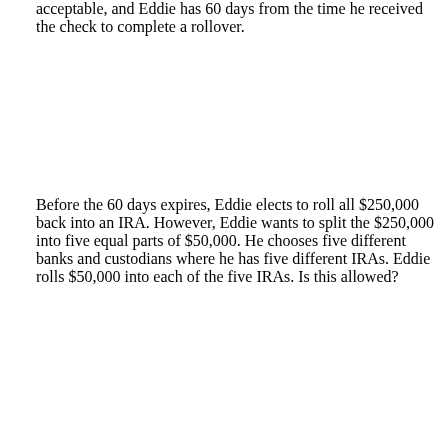acceptable, and Eddie has 60 days from the time he received the check to complete a rollover.
Before the 60 days expires, Eddie elects to roll all $250,000 back into an IRA. However, Eddie wants to split the $250,000 into five equal parts of $50,000. He chooses five different banks and custodians where he has five different IRAs. Eddie rolls $50,000 into each of the five IRAs. Is this allowed?